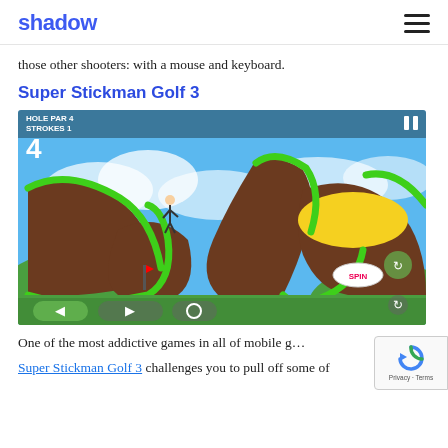shadow
those other shooters: with a mouse and keyboard.
Super Stickman Golf 3
[Figure (screenshot): Screenshot of Super Stickman Golf 3 game showing hole 4, par 4, strokes 1. A cartoon golf course with green hills, brown dirt terrain, and a blue sky with clouds. A stickman golfer is visible near the top left of the course. UI elements at the bottom include arrow buttons and a SPIN button.]
One of the most addictive games in all of mobile g…
Super Stickman Golf 3 challenges you to pull off some of